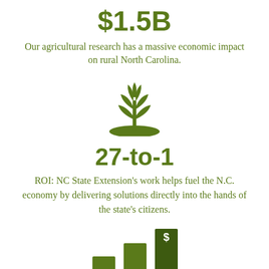$1.5B
Our agricultural research has a massive economic impact on rural North Carolina.
[Figure (illustration): Green plant/seedling icon growing from a mound of soil]
27-to-1
ROI: NC State Extension's work helps fuel the N.C. economy by delivering solutions directly into the hands of the state's citizens.
[Figure (bar-chart): Partial bar chart showing three bars of increasing height with a dollar sign on the tallest bar]